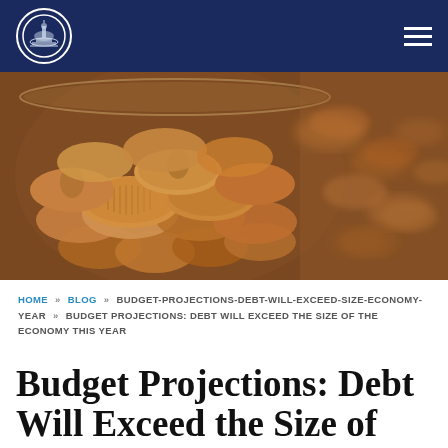Navigation bar with logo and hamburger menu
[Figure (photo): Close-up photograph of pennies/coins in a glass jar, warm copper tones, shallow depth of field]
HOME » BLOG » BUDGET-PROJECTIONS-DEBT-WILL-EXCEED-SIZE-ECONOMY-YEAR » BUDGET PROJECTIONS: DEBT WILL EXCEED THE SIZE OF THE ECONOMY THIS YEAR
Budget Projections: Debt Will Exceed the Size of the